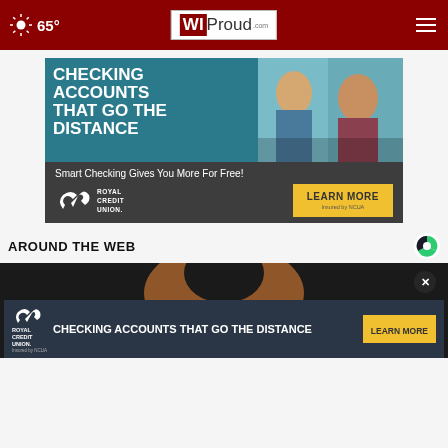65° WIProud.com
[Figure (advertisement): Royal Credit Union advertisement: Checking Accounts That Go The Distance. Smart Checking Gives You More For Free! Learn More. Insured by NCUA.]
AROUND THE WEB
[Figure (photo): Bottom section showing a partially visible person's head/face against dark background, with a Royal Credit Union overlay ad: Checking Accounts That Go The Distance, Learn More button, and a close (x) button.]